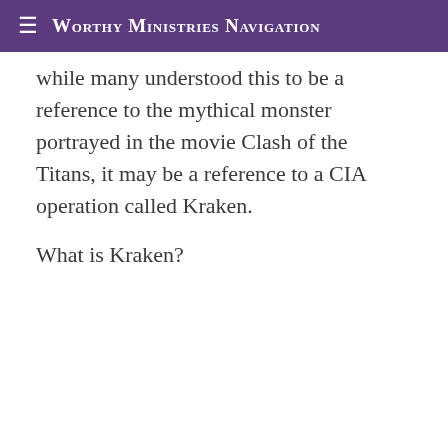≡ Worthy Ministries Navigation
while many understood this to be a reference to the mythical monster portrayed in the movie Clash of the Titans, it may be a reference to a CIA operation called Kraken.
What is Kraken?